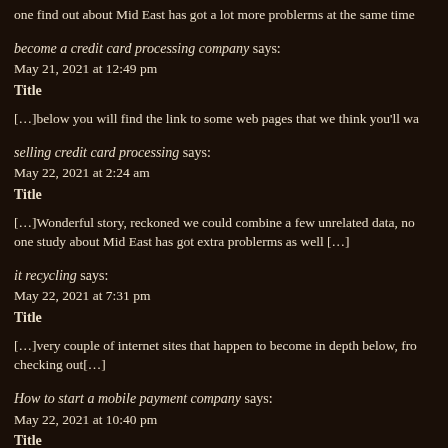one find out about Mid East has got a lot more problerms at the same time
become a credit card processing company says:
May 21, 2021 at 12:49 pm
Title
[…]below you will find the link to some web pages that we think you'll wa
selling credit card processing says:
May 22, 2021 at 2:24 am
Title
[…]Wonderful story, reckoned we could combine a few unrelated data, no one study about Mid East has got extra problerms as well […]
it recycling says:
May 22, 2021 at 7:31 pm
Title
[…]very couple of internet sites that happen to become in depth below, fro checking out[…]
How to start a mobile payment company says:
May 22, 2021 at 10:40 pm
Title
[…]usually posts some extremely exciting stuff like this. If you are new to